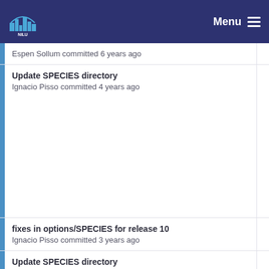NILU — Menu
Espen Sollum committed 6 years ago
Update SPECIES directory
Ignacio Pisso committed 4 years ago
fixes in options/SPECIES for release 10
Ignacio Pisso committed 3 years ago
Update SPECIES directory
Ignacio Pisso committed 4 years ago
change dsigma from 0.3 to 3.3 in SPECIES
Ignacio Pisso committed 3 years ago
Update SPECIES directory
Ignacio Pisso committed 4 years ago